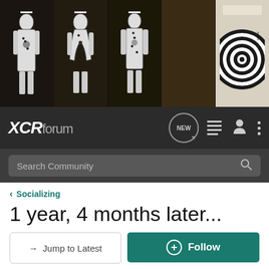[Figure (photo): Header image showing multiple shooting targets (paper human silhouette targets) at a shooting range, plus a circular bullseye target on the right]
[Figure (screenshot): XCRforum navigation bar with logo, NEW chat bubble icon, list icon, profile icon, and three-dot menu icon]
[Figure (screenshot): Search Community input bar with magnifying glass icon]
< Socializing
1 year, 4 months later...
→ Jump to Latest
+ Follow
1 - 20 of 23 Posts
1 of 2 ▶
Prizm · Registered